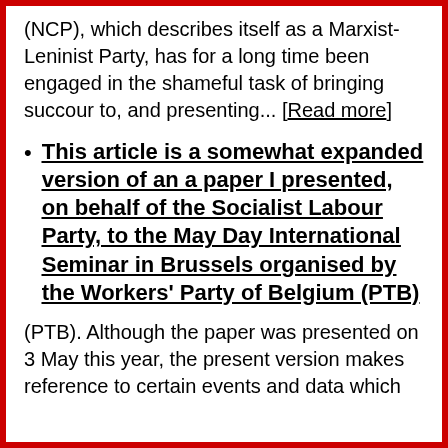(NCP), which describes itself as a Marxist-Leninist Party, has for a long time been engaged in the shameful task of bringing succour to, and presenting... [Read more]
This article is a somewhat expanded version of an a paper I presented, on behalf of the Socialist Labour Party, to the May Day International Seminar in Brussels organised by the Workers' Party of Belgium (PTB)
(PTB). Although the paper was presented on 3 May this year, the present version makes reference to certain events and data which